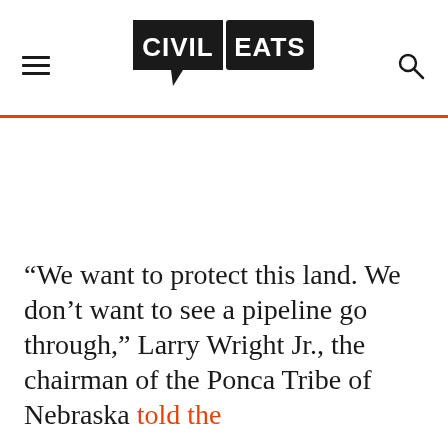Civil Eats
“We want to protect this land. We don’t want to see a pipeline go through,” Larry Wright Jr., the chairman of the Ponca Tribe of Nebraska told the